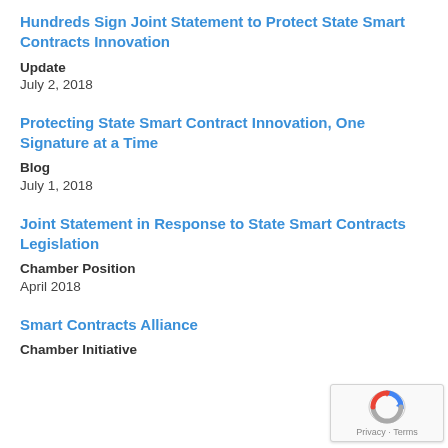Hundreds Sign Joint Statement to Protect State Smart Contracts Innovation
Update
July 2, 2018
Protecting State Smart Contract Innovation, One Signature at a Time
Blog
July 1, 2018
Joint Statement in Response to State Smart Contracts Legislation
Chamber Position
April 2018
Smart Contracts Alliance
Chamber Initiative